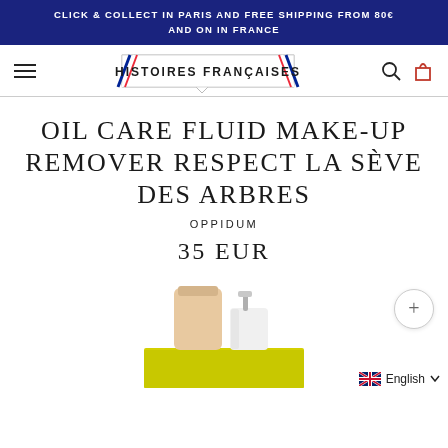CLICK & COLLECT IN PARIS AND FREE SHIPPING FROM 80€ AND ON IN FRANCE
[Figure (logo): Histoires Françaises brand logo with tricolor flag motif and text HISTOIRES FRANÇAISES inside a ribbon/banner shape]
OIL CARE FLUID MAKE-UP REMOVER RESPECT LA SÈVE DES ARBRES
OPPIDUM
35 EUR
[Figure (photo): Product photo showing two cosmetic bottles on yellow background — a beige/nude cylindrical cap and a silver pump dispenser bottle]